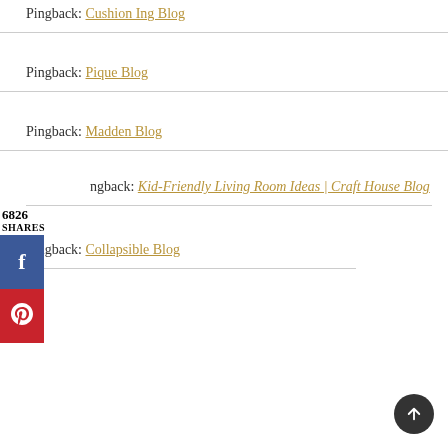Pingback: Cushion Ing Blog
Pingback: Pique Blog
Pingback: Madden Blog
Pingback: Kid-Friendly Living Room Ideas | Craft House Blog
Pingback: Collapsible Blog